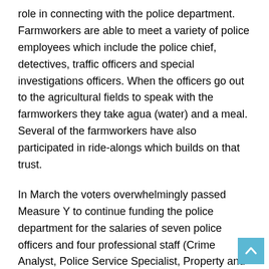role in connecting with the police department. Farmworkers are able to meet a variety of police employees which include the police chief, detectives, traffic officers and special investigations officers. When the officers go out to the agricultural fields to speak with the farmworkers they take agua (water) and a meal. Several of the farmworkers have also participated in ride-alongs which builds on that trust.
In March the voters overwhelmingly passed Measure Y to continue funding the police department for the salaries of seven police officers and four professional staff (Crime Analyst, Police Service Specialist, Property and Evidence Technician and Youth Specialist). Unfortunately, Covid-19 will have an impact on the sales tax reduction that will directly affect Measure Y. Consequently, a few of these positions have been moved to the General Fund. In addition, all Capital Improvement Programs for the Police Department have been